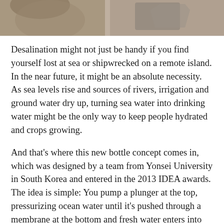[Figure (photo): Cropped photo showing hands, partially visible at top of page]
Desalination might not just be handy if you find yourself lost at sea or shipwrecked on a remote island. In the near future, it might be an absolute necessity. As sea levels rise and sources of rivers, irrigation and ground water dry up, turning sea water into drinking water might be the only way to keep people hydrated and crops growing.
And that’s where this new bottle concept comes in, which was designed by a team from Yonsei University in South Korea and entered in the 2013 IDEA awards. The idea is simple: You pump a plunger at the top, pressurizing ocean water until it’s pushed through a membrane at the bottom and fresh water enters into another chamber.